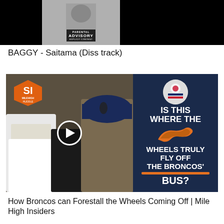[Figure (screenshot): Top image area with black panels and center album artwork showing a fist with PARENTAL ADVISORY EXPLICIT CONTENT label]
BAGGY - Saitama (Diss track)
[Figure (screenshot): Left: football photo with Broncos players and coach, SI Mile High Huddle logo badge, play button overlay. Right: dark navy blue graphic card reading IS THIS WHERE THE WHEELS TRULY FLY OFF THE BRONCOS' BUS? with Broncos logo and orange bars]
How Broncos can Forestall the Wheels Coming Off | Mile High Insiders